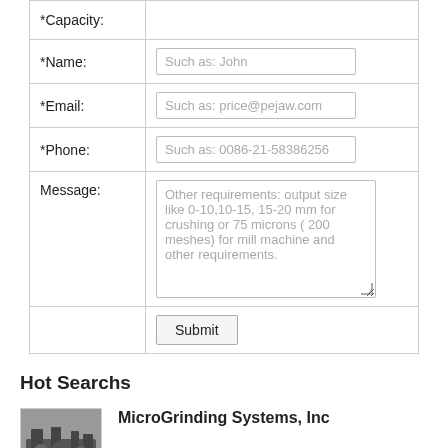| Field | Value |
| --- | --- |
| *Capacity: |  |
| *Name: | Such as: John |
| *Email: | Such as: price@pejaw.com |
| *Phone: | Such as: 0086-21-58386256 |
| Message: | Other requirements: output size like 0-10,10-15, 15-20 mm for crushing or 75 microns ( 200 meshes) for mill machine and other requirements. |
|  | Submit |
Hot Searchs
[Figure (photo): Photo of industrial grinding equipment, dark machinery components]
MicroGrinding Systems, Inc
Energy
Founded in 1988, Micro Grinding Systems